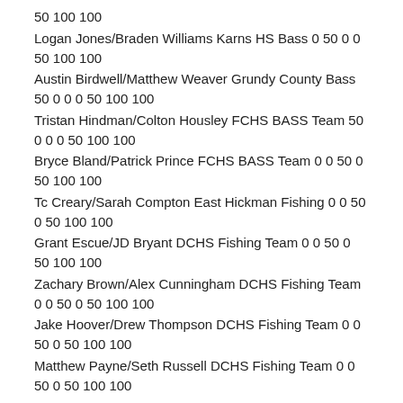50 100 100
Logan Jones/Braden Williams Karns HS Bass 0 50 0 0 50 100 100
Austin Birdwell/Matthew Weaver Grundy County Bass 50 0 0 0 50 100 100
Tristan Hindman/Colton Housley FCHS BASS Team 50 0 0 0 50 100 100
Bryce Bland/Patrick Prince FCHS BASS Team 0 0 50 0 50 100 100
Tc Creary/Sarah Compton East Hickman Fishing 0 0 50 0 50 100 100
Grant Escue/JD Bryant DCHS Fishing Team 0 0 50 0 50 100 100
Zachary Brown/Alex Cunningham DCHS Fishing Team 0 0 50 0 50 100 100
Jake Hoover/Drew Thompson DCHS Fishing Team 0 0 50 0 50 100 100
Matthew Payne/Seth Russell DCHS Fishing Team 0 0 50 0 50 100 100